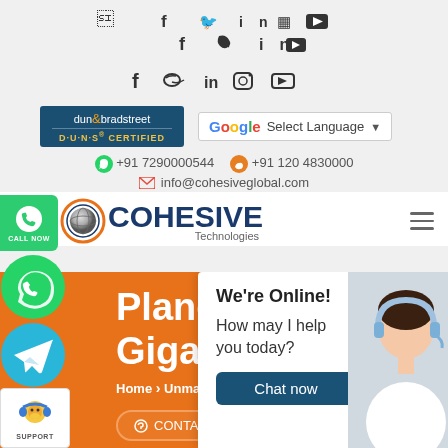Social icons: Facebook, Twitter, LinkedIn, Instagram, YouTube
[Figure (logo): Dun & Bradstreet D-U-N-S Certified badge]
[Figure (screenshot): Google Translate Select Language widget]
+91 7290000544   +91 120 4830000
info@cohesiveglobal.com
[Figure (logo): Cohesive Technologies logo with globe graphic]
[Figure (infographic): Call Now green button]
[Figure (infographic): WhatsApp floating button]
[Figure (infographic): Telegram floating button]
[Figure (infographic): Support monkey icon]
Planet G... Gigabi...
Home > Unmanaged...
[Figure (photo): Customer support representative with headset]
We're Online! How may I help you today?
Chat now
CONTACT US